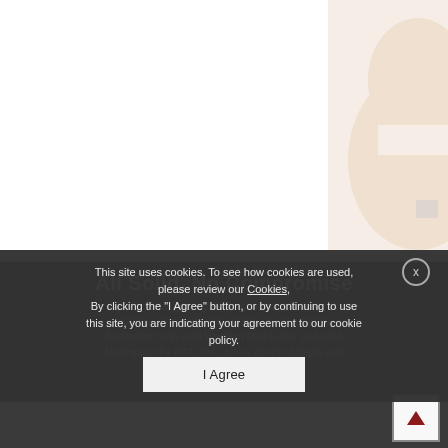[Figure (photo): Partial view of an acoustic guitar body in light/natural finish against white background, visible in top-right corner]
All Solid, No Compromise
A solid cedar guitar produces the full spectrum of richness and harmonic complexity. In a Grand Auditorium with solid Western Red Cedar and solid Mahogany the NATURAL offers plenty of depth and content.
This site uses cookies. To see how cookies are used, please review our Cookies, By clicking the "I Agree" button, or by continuing to use this site, you are indicating your agreement to our cookie policy.
I Agree